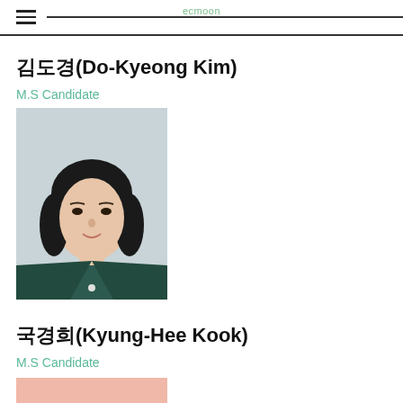ecmoon
김도경(Do-Kyeong Kim)
M.S Candidate
[Figure (photo): Portrait photo of Do-Kyeong Kim, a young woman with short dark wavy hair, wearing a dark green blazer, against a light blue-grey background.]
국경희(Kyung-Hee Kook)
M.S Candidate